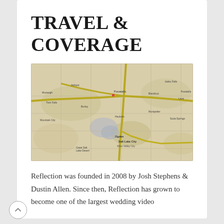TRAVEL & COVERAGE
[Figure (map): A topographic road map of the region around Salt Lake City, Utah, showing surrounding geography, roads, and labeled towns including Pocatello, Ogden, Salt Lake City, and Great Salt Lake Desert. The map has a beige/sepia color scheme with yellow highlighted routes.]
Reflection was founded in 2008 by Josh Stephens & Dustin Allen. Since then, Reflection has grown to become one of the largest wedding video